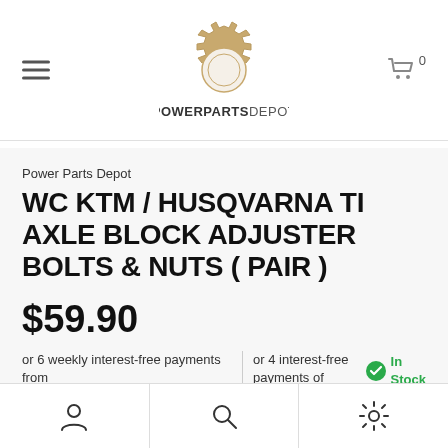POWERPARTSDEPOT — navigation header with logo
Power Parts Depot
WC KTM / HUSQVARNA TI AXLE BLOCK ADJUSTER BOLTS & NUTS ( PAIR )
$59.90
or 6 weekly interest-free payments from
or 4 interest-free payments of $14.98
In Stock
Bottom navigation bar with user, search, and settings icons